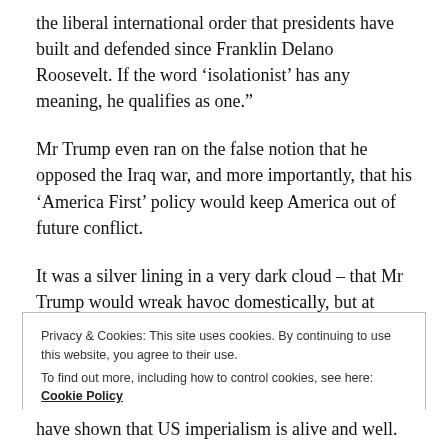the liberal international order that presidents have built and defended since Franklin Delano Roosevelt. If the word ‘isolationist’ has any meaning, he qualifies as one.”
Mr Trump even ran on the false notion that he opposed the Iraq war, and more importantly, that his ‘America First’ policy would keep America out of future conflict.
It was a silver lining in a very dark cloud – that Mr Trump would wreak havoc domestically, but at least leave the Global South alone.
Privacy & Cookies: This site uses cookies. By continuing to use this website, you agree to their use.
To find out more, including how to control cookies, see here: Cookie Policy
Close and accept
have shown that US imperialism is alive and well.